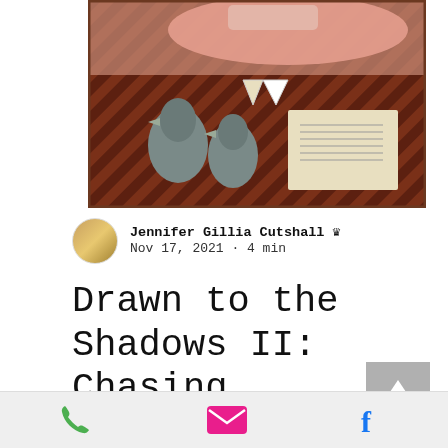[Figure (illustration): Painting showing birds on a patterned brown tablecloth with letters/papers and arms with tattoos visible at top]
Jennifer Gillia Cutshall 👑
Nov 17, 2021 · 4 min
Drawn to the Shadows II: Chasing Ghosts VI artists reveal the
[Figure (other): Back to top button with upward arrow]